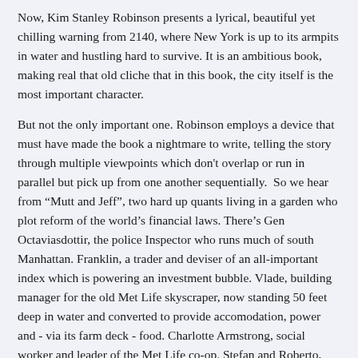Now, Kim Stanley Robinson presents a lyrical, beautiful yet chilling warning from 2140, where New York is up to its armpits in water and hustling hard to survive. It is an ambitious book, making real that old cliche that in this book, the city itself is the most important character.
But not the only important one. Robinson employs a device that must have made the book a nightmare to write, telling the story through multiple viewpoints which don't overlap or run in parallel but pick up from one another sequentially.  So we hear from "Mutt and Jeff", two hard up quants living in a garden who plot reform of the world's financial laws. There's Gen Octaviasdottir, the police Inspector who runs much of south Manhattan. Franklin, a trader and deviser of an all-important index which is powering an investment bubble. Vlade, building manager for the old Met Life skyscraper, now standing 50 feet deep in water and converted to provide accomodation, power and - via its farm deck - food. Charlotte Armstrong, social worker and leader of the Met Life co-op. Stefan and Roberto, two children of the waves who have a line in treasure hunting through the drowned streets. Amelia Black, cloud TV star who pilots an airship and films her attempts to save threatened species from the waves.